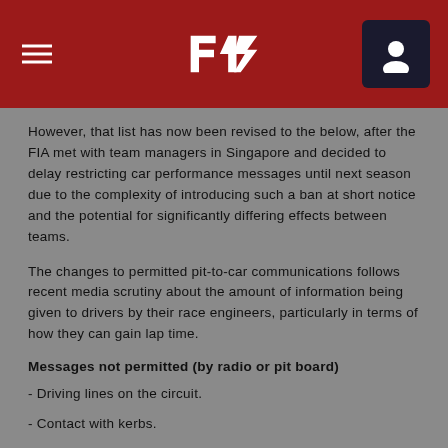F1 Navigation Header
However, that list has now been revised to the below, after the FIA met with team managers in Singapore and decided to delay restricting car performance messages until next season due to the complexity of introducing such a ban at short notice and the potential for significantly differing effects between teams.
The changes to permitted pit-to-car communications follows recent media scrutiny about the amount of information being given to drivers by their race engineers, particularly in terms of how they can gain lap time.
Messages not permitted (by radio or pit board)
- Driving lines on the circuit.
- Contact with kerbs.
- Car set up parameters for specific corners.